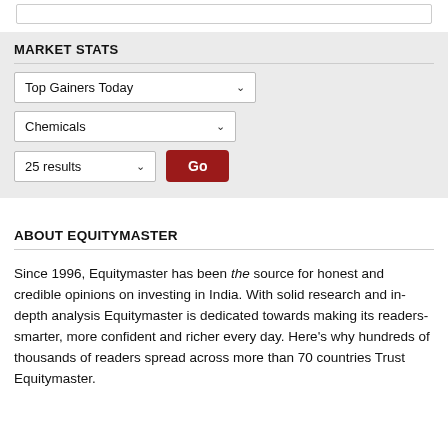MARKET STATS
Top Gainers Today
Chemicals
25 results
ABOUT EQUITYMASTER
Since 1996, Equitymaster has been the source for honest and credible opinions on investing in India. With solid research and in-depth analysis Equitymaster is dedicated towards making its readers- smarter, more confident and richer every day. Here's why hundreds of thousands of readers spread across more than 70 countries Trust Equitymaster.